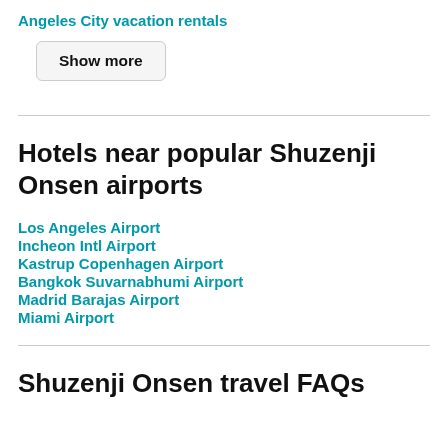Angeles City vacation rentals
Show more
Hotels near popular Shuzenji Onsen airports
Los Angeles Airport
Incheon Intl Airport
Kastrup Copenhagen Airport
Bangkok Suvarnabhumi Airport
Madrid Barajas Airport
Miami Airport
Shuzenji Onsen travel FAQs